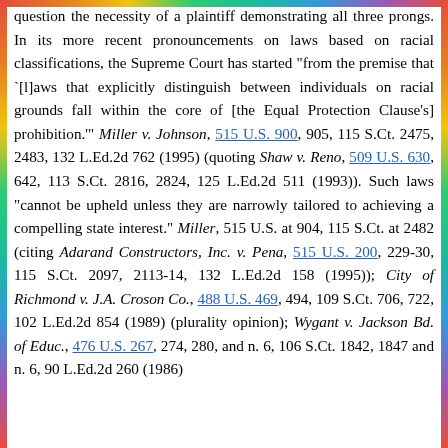question the necessity of a plaintiff demonstrating all three prongs. In its more recent pronouncements on laws based on racial classifications, the Supreme Court has started "from the premise that `[l]aws that explicitly distinguish between individuals on racial grounds fall within the core of [the Equal Protection Clause's] prohibition.'" Miller v. Johnson, 515 U.S. 900, 905, 115 S.Ct. 2475, 2483, 132 L.Ed.2d 762 (1995) (quoting Shaw v. Reno, 509 U.S. 630, 642, 113 S.Ct. 2816, 2824, 125 L.Ed.2d 511 (1993)). Such laws "cannot be upheld unless they are narrowly tailored to achieving a compelling state interest." Miller, 515 U.S. at 904, 115 S.Ct. at 2482 (citing Adarand Constructors, Inc. v. Pena, 515 U.S. 200, 229-30, 115 S.Ct. 2097, 2113-14, 132 L.Ed.2d 158 (1995)); City of Richmond v. J.A. Croson Co., 488 U.S. 469, 494, 109 S.Ct. 706, 722, 102 L.Ed.2d 854 (1989) (plurality opinion); Wygant v. Jackson Bd. of Educ., 476 U.S. 267, 274, 280, and n. 6, 106 S.Ct. 1842, 1847 and n. 6, 90 L.Ed.2d 260 (1986)